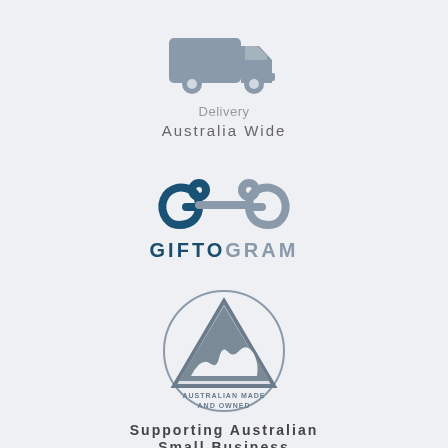[Figure (illustration): Grey delivery truck icon]
Delivery
Australia Wide
[Figure (logo): Giftogram logo with infinity-link symbol in dark teal and grey]
GIFTOGRAM
[Figure (logo): Australian Made and Owned logo - triangle with kangaroo inside a circle, text AUSTRALIAN MADE AND OWNED]
Supporting Australian Small Business